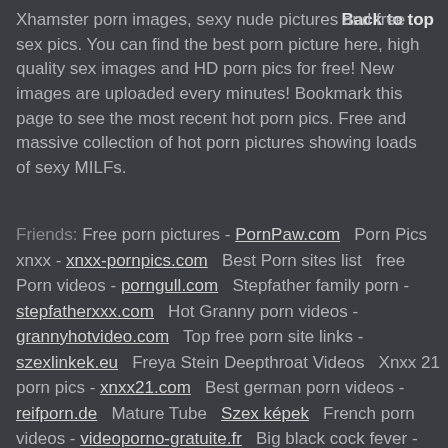Xhamster porn images, sexy nude pictures and free sex pics. You can find the best porn picture here, high quality sex images and HD porn pics for free! New images are uploaded every minutes! Bookmark this page to see the most recent hot porn pics. Free and massive collection of hot porn pictures showing loads of sexy MILFs.
Back to top
Friends: Free porn pictures - PornPaw.com   Porn Pics xnxx - xnxx-pornpics.com   Best Porn sites list   free Porn videos - porngull.com   Stepfather family porn - stepfatherxxx.com   Hot Granny porn videos - grannyhotvideo.com   Top free porn site links - szexlinkek.eu   Freya Stein Deepthroat Videos   Xnxx 21 porn pics - xnxx21.com   Best german porn videos - reifporn.de   Mature Tube   Szex képek   French porn videos - videoporno-gratuite.fr   Big black cock fever - BigBlackCockFever.net   IndieGameMag   Lesbian Tube   Milfs Lesbian   Popular Movie Rapes   FkdPanda